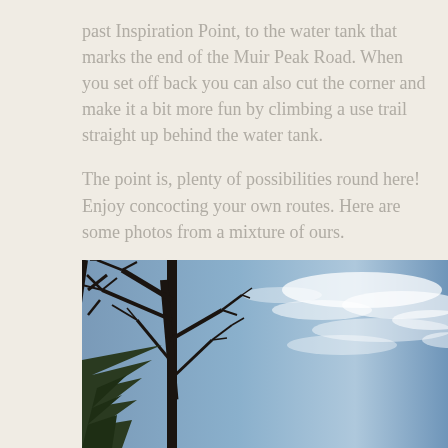past Inspiration Point, to the water tank that marks the end of the Muir Peak Road. When you set off back you can also cut the corner and make it a bit more fun by climbing a use trail straight up behind the water tank.
The point is, plenty of possibilities round here! Enjoy concocting your own routes. Here are some photos from a mixture of ours.
[Figure (photo): Photograph taken looking upward through bare tree branches against a blue sky with wispy white clouds. The left portion shows dark silhouetted bare tree branches and some evergreen foliage at bottom left. The right and upper portions show a blue sky with streaks of white cloud.]